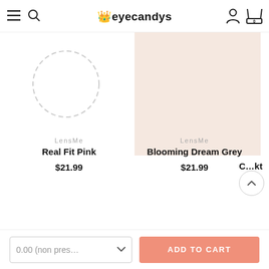eyecandys — navigation header with menu, search, account, and cart icons
[Figure (photo): Product card for LensMe Real Fit Pink contact lens — shows dashed circle placeholder image]
LensMe
Real Fit Pink
$21.99
[Figure (photo): Product card for LensMe Blooming Dream Grey contact lens — shows eye wearing grey lens with lens swatch overlay]
LensMe
Blooming Dream Grey
$21.99
C…kta…
0.00 (non pres… dropdown | ADD TO CART button